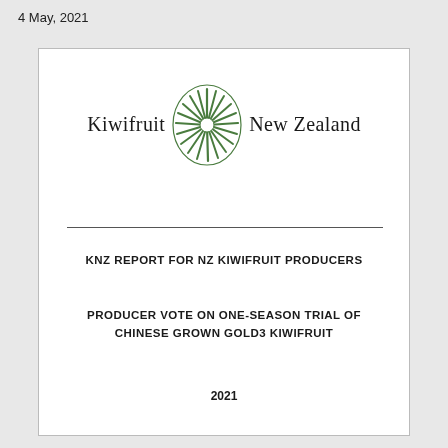4 May, 2021
[Figure (logo): Kiwifruit New Zealand logo with green starburst/sunburst emblem between the words Kiwifruit and New Zealand]
KNZ REPORT FOR NZ KIWIFRUIT PRODUCERS
PRODUCER VOTE ON ONE-SEASON TRIAL OF CHINESE GROWN GOLD3 KIWIFRUIT
2021